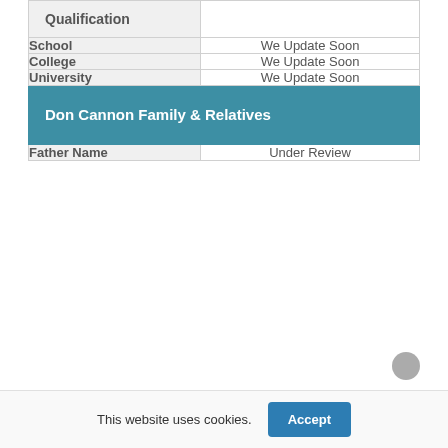| Field | Value |
| --- | --- |
| Qualification |  |
| School | We Update Soon |
| College | We Update Soon |
| University | We Update Soon |
| Don Cannon Family & Relatives |  |
| Father Name | Under Review |
This website uses cookies. Accept